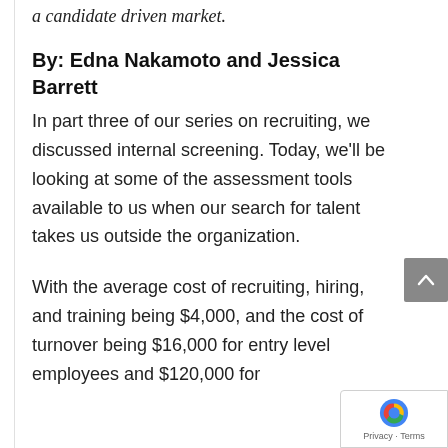a candidate driven market.
By: Edna Nakamoto and Jessica Barrett
In part three of our series on recruiting, we discussed internal screening. Today, we'll be looking at some of the assessment tools available to us when our search for talent takes us outside the organization.
With the average cost of recruiting, hiring, and training being $4,000, and the cost of turnover being $16,000 for entry level employees and $120,000 for